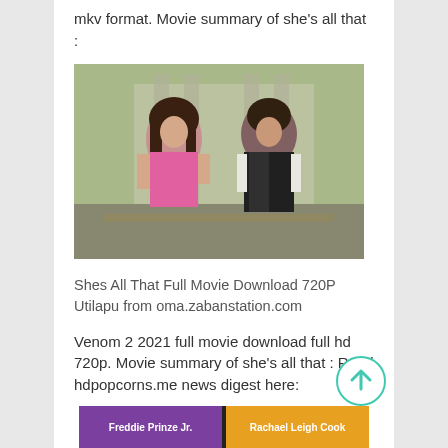mkv format. Movie summary of she's all that :
[Figure (photo): Movie still showing a young woman in a pink top and a man in a black varsity jacket talking to each other outdoors at what appears to be a school]
Shes All That Full Movie Download 720P Utilapu from oma.zabanstation.com
Venom 2 2021 full movie download full hd 720p. Movie summary of she's all that : Read hdpopcorns.me news digest here:
[Figure (photo): Bottom portion of a movie DVD/Blu-ray cover showing credits bar with Freddie Prinze Jr. on left purple section and Rachael Leigh Cook on right orange section]